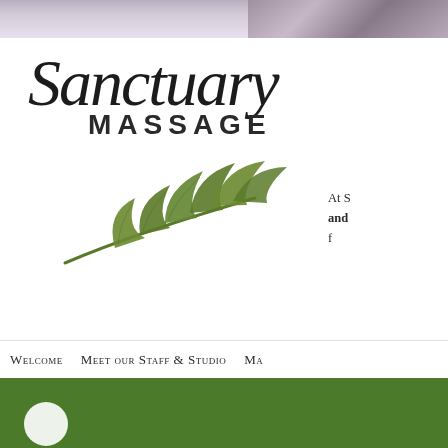[Figure (photo): Top strip with floral/lavender photo background]
Sanctuary MASSAGE
[Figure (illustration): Green botanical leaf sprig illustration]
At S and f
Welcome
Meet our Staff & Studio
Ma
[Figure (other): Green footer bar with white circle avatar placeholder]